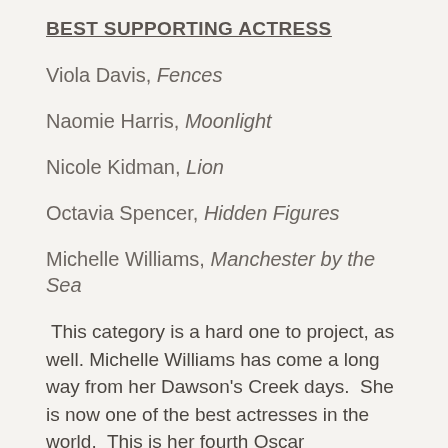BEST SUPPORTING ACTRESS
Viola Davis, Fences
Naomie Harris, Moonlight
Nicole Kidman, Lion
Octavia Spencer, Hidden Figures
Michelle Williams, Manchester by the Sea
This category is a hard one to project, as well. Michelle Williams has come a long way from her Dawson's Creek days.  She is now one of the best actresses in the world.  This is her fourth Oscar nomination, but she is still